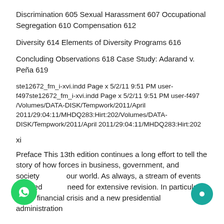Discrimination 605 Sexual Harassment 607 Occupational Segregation 610 Compensation 612
Diversity 614 Elements of Diversity Programs 616
Concluding Observations 618 Case Study: Adarand v. Peña 619
ste12672_fm_i-xvi.indd Page x 5/2/11 9:51 PM user-f497ste12672_fm_i-xvi.indd Page x 5/2/11 9:51 PM user-f497 /Volumes/DATA-DISK/Tempwork/2011/April 2011/29:04:11/MHDQ283:Hirt:202/Volumes/DATA-DISK/Tempwork/2011/April 2011/29:04:11/MHDQ283:Hirt:202
xi
Preface This 13th edition continues a long effort to tell the story of how forces in business, government, and society our world. As always, a stream of events dictated need for extensive revision. In particular, a major financial crisis and a new presidential administration